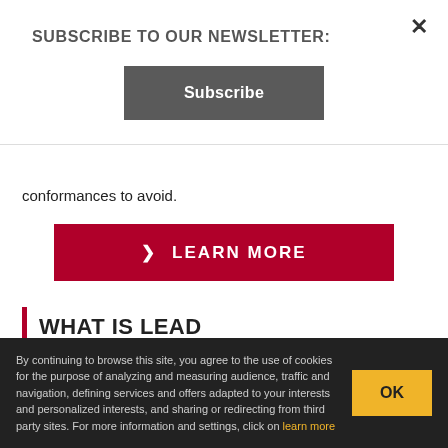SUBSCRIBE TO OUR NEWSLETTER:
Subscribe
conformances to avoid.
LEARN MORE
WHAT IS LEAD
LEAD is Bureau Veritas e-commerce platform for Certification that aims at helping organizations in their certification process. Online courses, tools and webinars available on LEAD help companies to
By continuing to browse this site, you agree to the use of cookies for the purpose of analyzing and measuring audience, traffic and navigation, defining services and offers adapted to your interests and personalized interests, and sharing or redirecting from third party sites. For more information and settings, click on learn more
OK